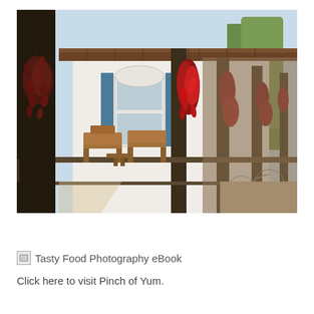[Figure (photo): A Southwestern-style porch with wooden columns and beams, decorated with multiple hanging red chili pepper ristras. The building has white adobe walls with blue-shuttered windows. Wooden porch furniture including chairs and a bench are visible. In the background, a bicycle and trees can be seen.]
Tasty Food Photography eBook
Click here to visit Pinch of Yum.